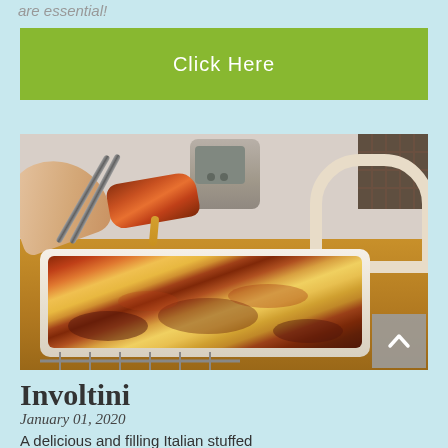are essential!
[Figure (other): Green rectangular button with white text 'Click Here']
[Figure (photo): Photo of a baked Italian involtini casserole dish on a wooden table, with a hand using tongs to serve a portion. A white casserole dish filled with tomato-sauced stuffed rolls topped with melted cheese is visible. A wooden chair and kitchen appliances are in the background.]
Involtini
January 01, 2020
A delicious and filling Italian stuffed